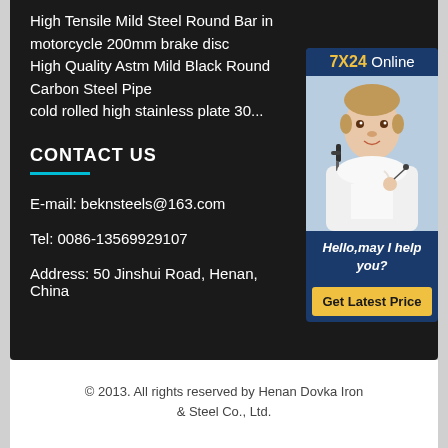High Tensile Mild Steel Round Bar in motorcycle 200mm brake disc
High Quality Astm Mild Black Round Carbon Steel Pipe
cold rolled high stainless plate 30...
CONTACT US
E-mail: beknsteels@163.com
Tel: 0086-13569929107
Address: 50 Jinshui Road, Henan, China
[Figure (photo): Customer service representative with headset, with '7X24 Online' banner, 'Hello,may I help you?' text and 'Get Latest Price' button]
© 2013. All rights reserved by Henan Dovka Iron & Steel Co., Ltd.